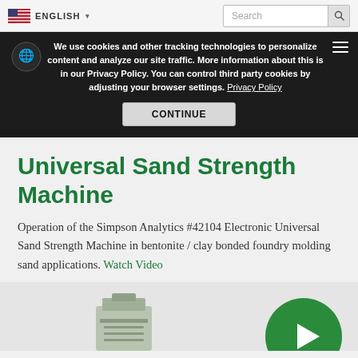ENGLISH | Search
We use cookies and other tracking technologies to personalize content and analyze our site traffic. More information about this is in our Privacy Policy. You can control third party cookies by adjusting your browser settings. Privacy Policy
CONTINUE
Universal Sand Strength Machine
Operation of the Simpson Analytics #42104 Electronic Universal Sand Strength Machine in bentonite / clay bonded foundry molding sand applications. Watch Video